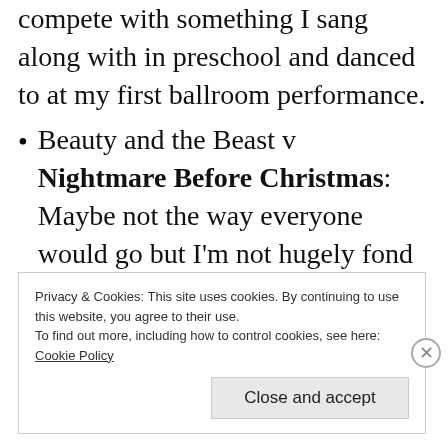compete with something I sang along with in preschool and danced to at my first ballroom performance.
Beauty and the Beast v Nightmare Before Christmas: Maybe not the way everyone would go but I'm not hugely fond of Beauty and the Beast, save Lumiere, Philippe, and Angela Lansbury.
Privacy & Cookies: This site uses cookies. By continuing to use this website, you agree to their use.
To find out more, including how to control cookies, see here:
Cookie Policy

Close and accept